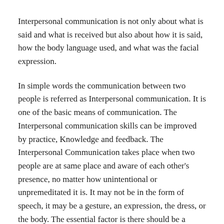Interpersonal communication is not only about what is said and what is received but also about how it is said, how the body language used, and what was the facial expression.
In simple words the communication between two people is referred as Interpersonal communication. It is one of the basic means of communication. The Interpersonal communication skills can be improved by practice, Knowledge and feedback. The Interpersonal Communication takes place when two people are at same place and aware of each other's presence, no matter how unintentional or unpremeditated it is. It may not be in the form of speech, it may be a gesture, an expression, the dress, or the body. The essential factor is there should be a message and it should be send by the sender and it should be received by the receiver.